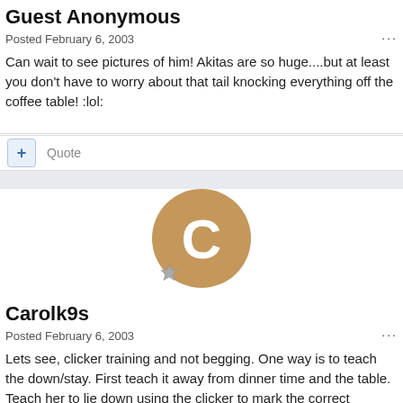Guest Anonymous
Posted February 6, 2003
Can wait to see pictures of him! Akitas are so huge....but at least you don't have to worry about that tail knocking everything off the coffee table! :lol:
Quote
Carolk9s
Posted February 6, 2003
Lets see, clicker training and not begging. One way is to teach the down/stay. First teach it away from dinner time and the table. Teach her to lie down using the clicker to mark the correct behaviour as soon as it happens. Then expand on that and teach her to stay using the clicker. Again your initial training is in a fairly quiet place with not a